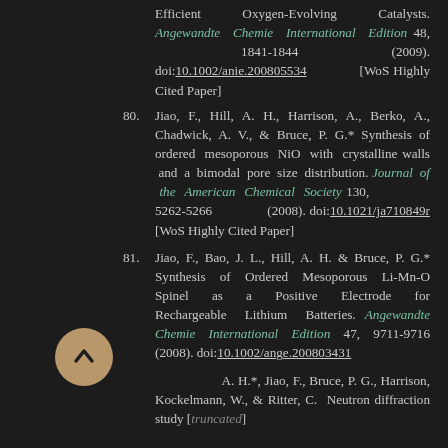Efficient Oxygen-Evolving Catalysts. Angewandte Chemie International Edition 48, 1841-1844 (2009). doi:10.1002/anie.200805534 [WoS Highly Cited Paper]
80. Jiao, F., Hill, A. H., Harrison, A., Berko, A., Chadwick, A. V., & Bruce, P. G.* Synthesis of ordered mesoporous NiO with crystalline walls and a bimodal pore size distribution. Journal of the American Chemical Society 130, 5262-5266 (2008). doi:10.1021/ja710849r [WoS Highly Cited Paper]
81. Jiao, F., Bao, J. L., Hill, A. H. & Bruce, P. G.* Synthesis of Ordered Mesoporous Li-Mn-O Spinel as a Positive Electrode for Rechargeable Lithium Batteries. Angewandte Chemie International Edition 47, 9711-9716 (2008). doi:10.1002/ange.200803431
A. H.*, Jiao, F., Bruce, P. G., Harrison, Kockelmann, W., & Ritter, C. Neutron diffraction study of...